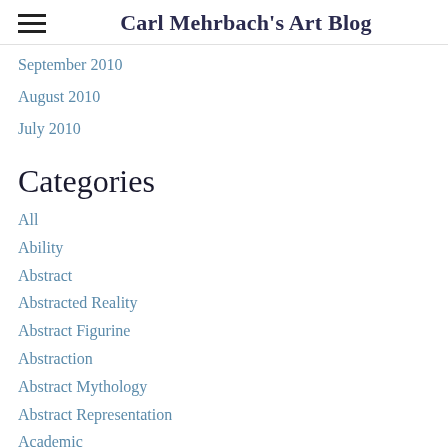Carl Mehrbach's Art Blog
September 2010
August 2010
July 2010
Categories
All
Ability
Abstract
Abstracted Reality
Abstract Figurine
Abstraction
Abstract Mythology
Abstract Representation
Academic
Acceptance
Accomplishment